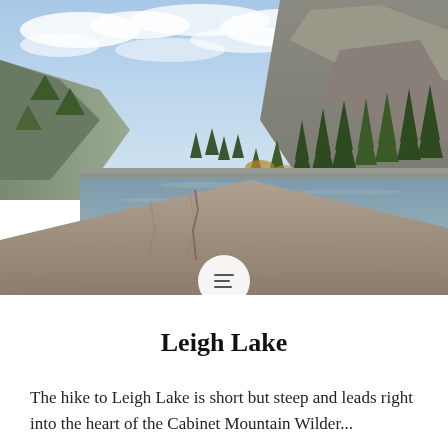[Figure (photo): Outdoor mountain lake landscape photo showing Leigh Lake with rocky foreground in the lower portion, calm blue-grey lake water in the middle, evergreen trees and rocky mountainside on the right, mountain slopes on the left, and a partly cloudy blue sky above.]
Leigh Lake
The hike to Leigh Lake is short but steep and leads right into the heart of the Cabinet Mountain Wilderness...